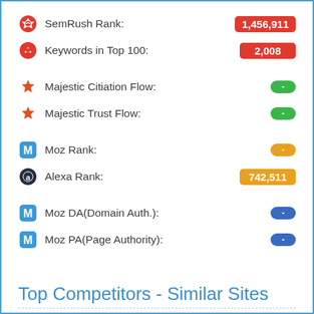SemRush Rank: 1,456,911
Keywords in Top 100: 2,008
Majestic Citiation Flow: -
Majestic Trust Flow: -
Moz Rank: -
Alexa Rank: 742,511
Moz DA(Domain Auth.): -
Moz PA(Page Authority): -
Top Competitors - Similar Sites
| Site Url | Worth |
| --- | --- |